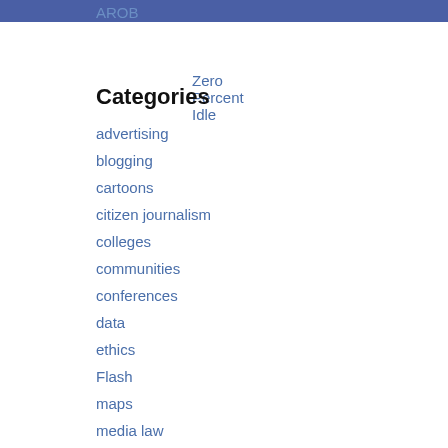AROB
Zero Percent Idle
Categories
advertising
blogging
cartoons
citizen journalism
colleges
communities
conferences
data
ethics
Flash
maps
media law
newspaper design
newspapers